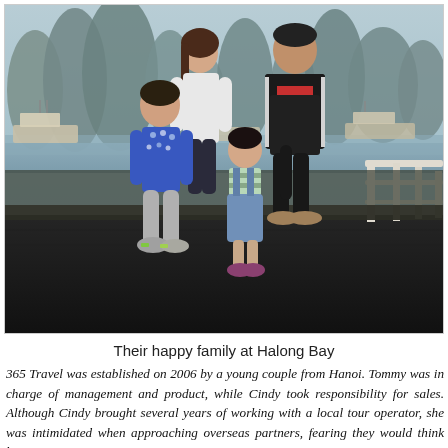[Figure (photo): A family of four (woman, man, and two children) posing on the deck of a boat at Halong Bay, Vietnam. The background shows the bay with limestone karst mountains and other boats. The man wears a red shirt and black tracksuit jacket; the boy wears a blue patterned sweater; the girl wears a denim dress with a striped shirt. The deck is dark-colored with white railings visible on the right.]
Their happy family at Halong Bay
365 Travel was established on 2006 by a young couple from Hanoi. Tommy was in charge of management and product, while Cindy took responsibility for sales. Although Cindy brought several years of working with a local tour operator, she was intimidated when approaching overseas partners, fearing they would think her, at